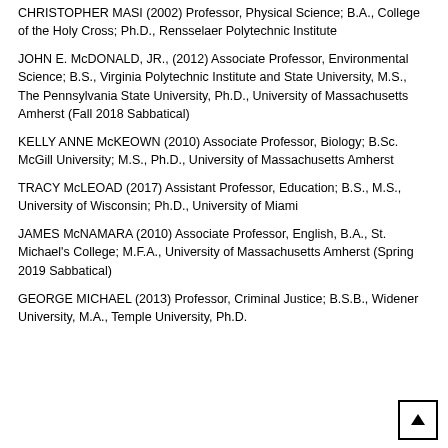CHRISTOPHER MASI (2002) Professor, Physical Science; B.A., College of the Holy Cross; Ph.D., Rensselaer Polytechnic Institute
JOHN E. McDONALD, JR., (2012) Associate Professor, Environmental Science; B.S., Virginia Polytechnic Institute and State University, M.S., The Pennsylvania State University, Ph.D., University of Massachusetts Amherst (Fall 2018 Sabbatical)
KELLY ANNE McKEOWN (2010) Associate Professor, Biology; B.Sc. McGill University; M.S., Ph.D., University of Massachusetts Amherst
TRACY McLEOAD (2017) Assistant Professor, Education; B.S., M.S., University of Wisconsin; Ph.D., University of Miami
JAMES McNAMARA (2010) Associate Professor, English, B.A., St. Michael's College; M.F.A., University of Massachusetts Amherst (Spring 2019 Sabbatical)
GEORGE MICHAEL (2013) Professor, Criminal Justice; B.S.B., Widener University, M.A., Temple University, Ph.D...